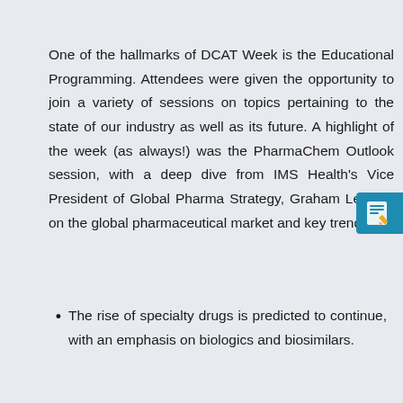One of the hallmarks of DCAT Week is the Educational Programming. Attendees were given the opportunity to join a variety of sessions on topics pertaining to the state of our industry as well as its future. A highlight of the week (as always!) was the PharmaChem Outlook session, with a deep dive from IMS Health's Vice President of Global Pharma Strategy, Graham Lewis, on the global pharmaceutical market and key trends.
The rise of specialty drugs is predicted to continue, with an emphasis on biologics and biosimilars.